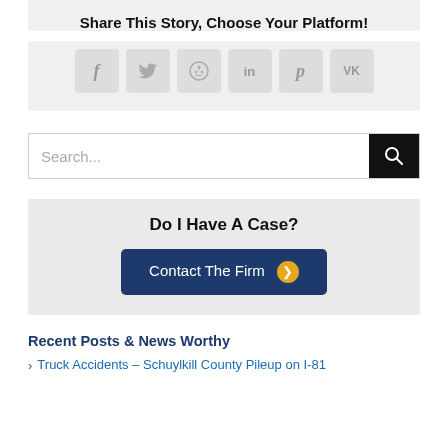Share This Story, Choose Your Platform!
[Figure (infographic): Six social media sharing icons: Facebook (f), Twitter (bird/t), Reddit, LinkedIn (in), Pinterest (p), VKontakte (VK), displayed as rounded square buttons in light grey.]
Search...
Do I Have A Case?
Contact The Firm
Recent Posts & News Worthy
Truck Accidents – Schuylkill County Pileup on I-81